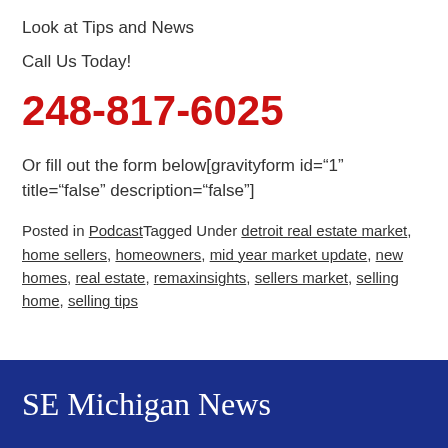Look at Tips and News
Call Us Today!
248-817-6025
Or fill out the form below[gravityform id="1" title="false" description="false"]
Posted in PodcastTagged Under detroit real estate market, home sellers, homeowners, mid year market update, new homes, real estate, remaxinsights, sellers market, selling home, selling tips
SE Michigan News